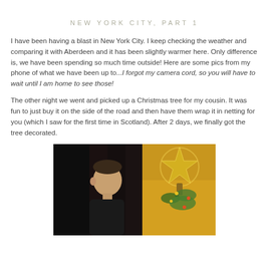NEW YORK CITY, PART 1
I have been having a blast in New York City. I keep checking the weather and comparing it with Aberdeen and it has been slightly warmer here. Only difference is, we have been spending so much time outside! Here are some pics from my phone of what we have been up to...I forgot my camera cord, so you will have to wait until I am home to see those!
The other night we went and picked up a Christmas tree for my cousin. It was fun to just buy it on the side of the road and then have them wrap it in netting for you (which I saw for the first time in Scotland). After 2 days, we finally got the tree decorated.
[Figure (photo): A photo showing a person on the left side against a dark background, and a glittery gold star Christmas tree topper on the right side against a warm golden background.]